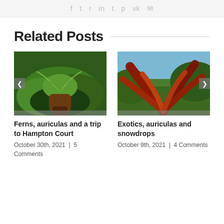f  t  r  in  t  p  vk  ✉
Related Posts
[Figure (photo): Garden scene with ferns and green leafy plants around a tree stump]
Ferns, auriculas and a trip to Hampton Court
October 30th, 2021  |  5 Comments
[Figure (photo): Exotic garden with large red-brown tropical leaves, possibly a banana plant or bromeliad]
Exotics, auriculas and snowdrops
October 9th, 2021  |  4 Comments